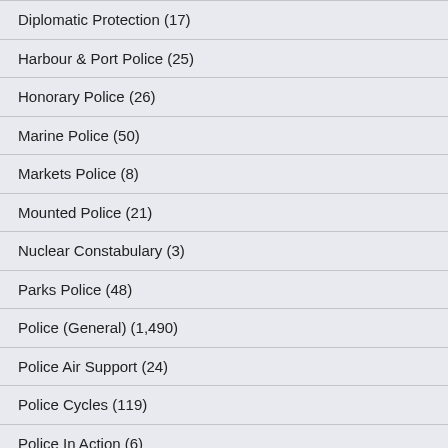Diplomatic Protection (17)
Harbour & Port Police (25)
Honorary Police (26)
Marine Police (50)
Markets Police (8)
Mounted Police (21)
Nuclear Constabulary (3)
Parks Police (48)
Police (General) (1,490)
Police Air Support (24)
Police Cycles (119)
Police In Action (6)